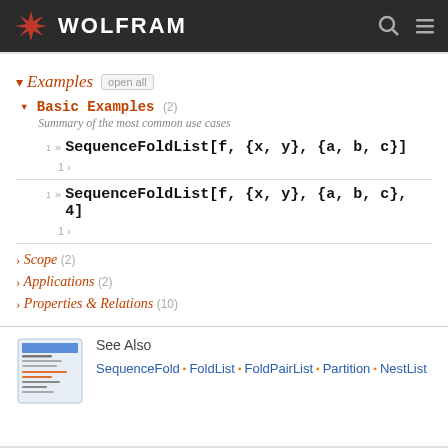WOLFRAM
Examples  open all
Basic Examples (2)
Summary of the most common use cases
1»  SequenceFoldList[f, {x, y}, {a, b, c}]
1 ›
1»  SequenceFoldList[f, {x, y}, {a, b, c}, 4]
1 ›
> Scope (2)
> Applications (2)
> Properties & Relations (10)
See Also
SequenceFold · FoldList · FoldPairList · Partition · NestList